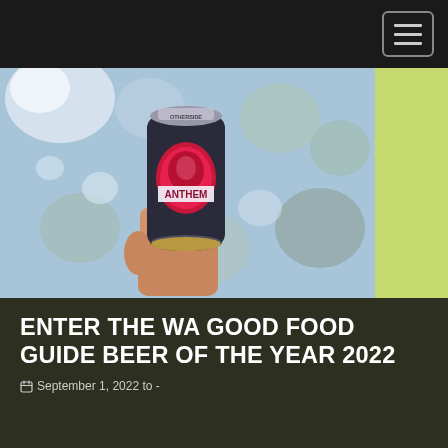[Figure (photo): A hand holding up a can of Otherside Anthem beer against a blurred snowy tree background]
ENTER THE WA GOOD FOOD GUIDE BEER OF THE YEAR 2022
September 1, 2022 to -